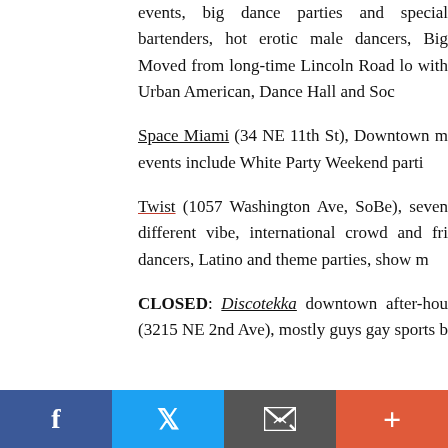events, big dance parties and special bartenders, hot erotic male dancers, Big... Moved from long-time Lincoln Road lo... with Urban American, Dance Hall and Soc...
Space Miami (34 NE 11th St), Downtown m... events include White Party Weekend parti...
Twist (1057 Washington Ave, SoBe), seven... different vibe, international crowd and fri... dancers, Latino and theme parties, show m...
CLOSED: Discotekka downtown after-hou... (3215 NE 2nd Ave), mostly guys gay sports b...
Facebook | Twitter | Email | More